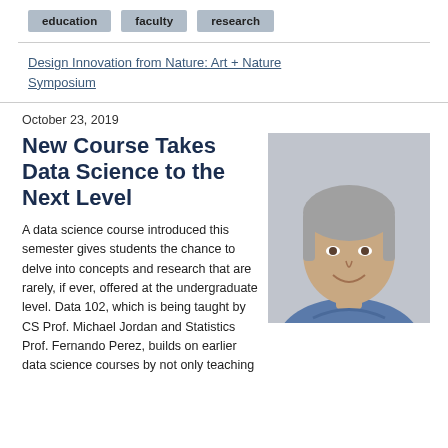education
faculty
research
Design Innovation from Nature: Art + Nature Symposium
October 23, 2019
New Course Takes Data Science to the Next Level
[Figure (photo): Headshot of a middle-aged man with gray hair, smiling, wearing a blue shirt, photographed against a gray background.]
A data science course introduced this semester gives students the chance to delve into concepts and research that are rarely, if ever, offered at the undergraduate level. Data 102, which is being taught by CS Prof. Michael Jordan and Statistics Prof. Fernando Perez, builds on earlier data science courses by not only teaching